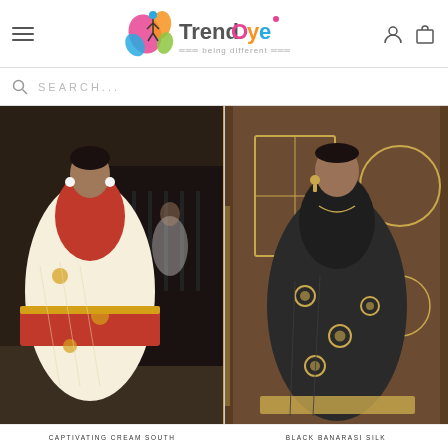TrendOye — being different
SEARCH...
[Figure (photo): Woman wearing a cream and red Banarasi silk saree with gold embroidery, standing near ornate railing]
[Figure (photo): Woman wearing a black Banarasi silk saree with gold floral embroidery, standing in a luxury interior]
CAPTIVATING CREAM SOUTH
BLACK BANARASI SILK